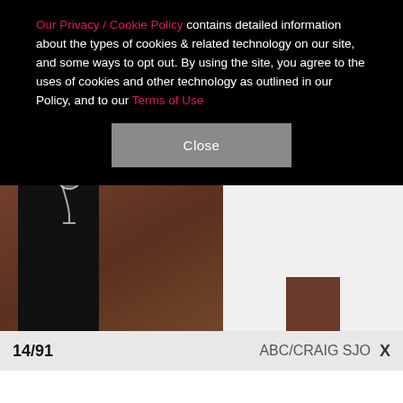Our Privacy / Cookie Policy contains detailed information about the types of cookies & related technology on our site, and some ways to opt out. By using the site, you agree to the uses of cookies and other technology as outlined in our Policy, and to our Terms of Use
[Figure (photo): A photo showing two people from the torso down: a person on the left wearing black pants and holding a wine glass, and a person on the right wearing a white gown/dress with a slit. Background appears to be a tiled floor in warm tones.]
14/91   ABC/CRAIG SJO   X